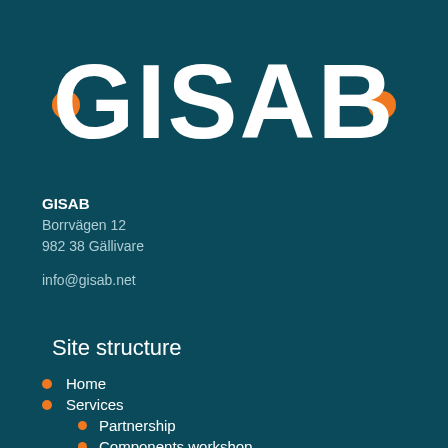[Figure (logo): GISAB logo — white bold text 'GISAB' with orange circle dots on left and right, on dark teal background]
GISAB
Borrvägen 12
982 38 Gällivare
info@gisab.net
Site structure
Home
Services
Partnership
Components workshop